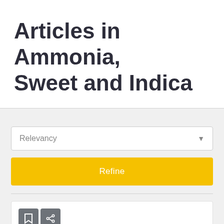Articles in Ammonia, Sweet and Indica
Relevancy
Refine
[Figure (screenshot): A card with bookmark and share icons, and a yellow image area with the text 'Hybrid' partially visible]